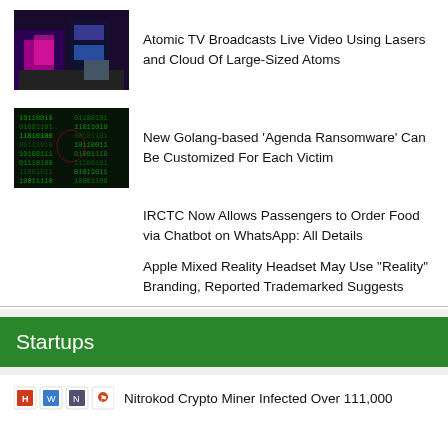[Figure (photo): City street scene with neon lights and digital displays]
Atomic TV Broadcasts Live Video Using Lasers and Cloud Of Large-Sized Atoms
[Figure (photo): Green matrix/code background image]
New Golang-based ‘Agenda Ransomware’ Can Be Customized For Each Victim
IRCTC Now Allows Passengers to Order Food via Chatbot on WhatsApp: All Details
Apple Mixed Reality Headset May Use “Reality” Branding, Reported Trademarked Suggests
Startups
[Figure (logo): Four small app/brand icons in a row]
Nitrokod Crypto Miner Infected Over 111,000